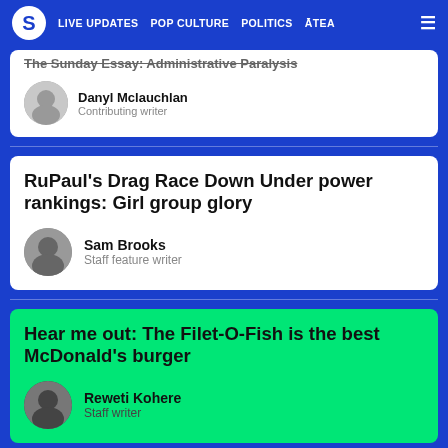S | LIVE UPDATES | POP CULTURE | POLITICS | ĀTEA
The Sunday Essay: Administrative Paralysis
Danyl Mclauchlan
Contributing writer
RuPaul's Drag Race Down Under power rankings: Girl group glory
Sam Brooks
Staff feature writer
Hear me out: The Filet-O-Fish is the best McDonald's burger
Reweti Kohere
Staff writer